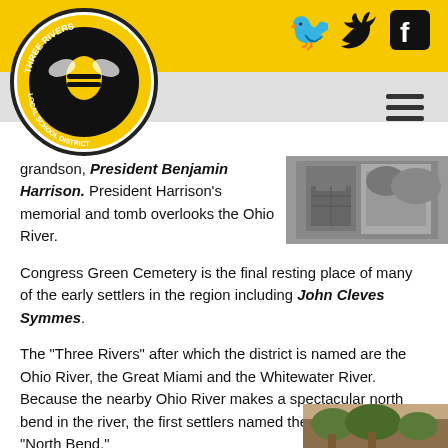Three Rivers Local School District
[Figure (logo): Three Rivers Local School District circular logo with bee mascot, black and gold colors]
[Figure (photo): Black and white historical photograph of a stone or brick structure]
grandson, President Benjamin Harrison. President Harrison's memorial and tomb overlooks the Ohio River.
Congress Green Cemetery is the final resting place of many of the early settlers in the region including John Cleves Symmes.
The "Three Rivers" after which the district is named are the Ohio River, the Great Miami and the Whitewater River. Because the nearby Ohio River makes a spectacular north bend in the river, the first settlers named the community "North Bend."
PARKS
[Figure (photo): Color photograph partially visible at bottom right, showing outdoor park scene]